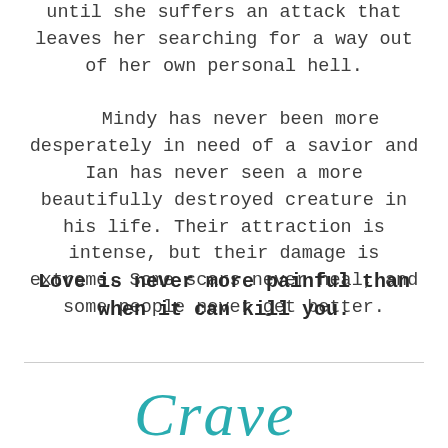until she suffers an attack that leaves her searching for a way out of her own personal hell.

Mindy has never been more desperately in need of a savior and Ian has never seen a more beautifully destroyed creature in his life. Their attraction is intense, but their damage is extreme. Some scars never heal, and some people never get better.
Love is never more painful than when it can kill you.
[Figure (logo): Stylized cursive word 'Crave' in teal/turquoise color]